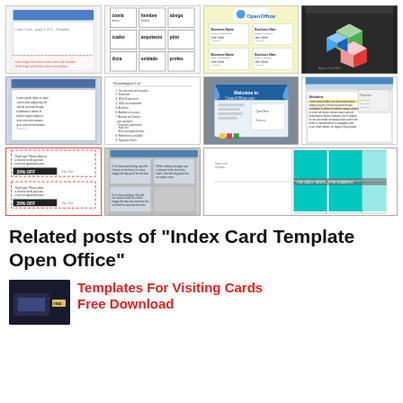[Figure (screenshot): Grid of 12 thumbnail screenshots showing various OpenOffice and document templates including index cards, business cards, resume templates, coupon templates, and OpenOffice UI screenshots]
Related posts of "Index Card Template Open Office"
[Figure (illustration): Small thumbnail of a keyboard/cards photo]
Templates For Visiting Cards Free Download